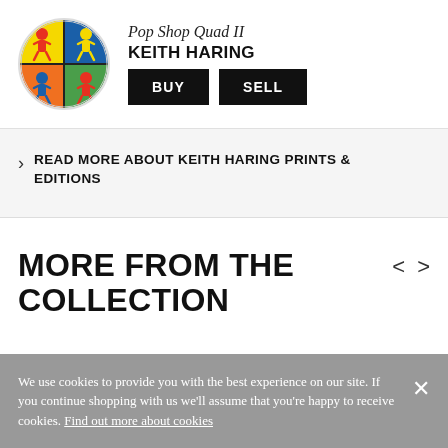[Figure (illustration): Circular artwork thumbnail of Keith Haring's Pop Shop Quad II showing colorful figures in a 2x2 grid on yellow, blue, orange, and green backgrounds]
Pop Shop Quad II
KEITH HARING
BUY | SELL
READ MORE ABOUT KEITH HARING PRINTS & EDITIONS
MORE FROM THE COLLECTION
We use cookies to provide you with the best experience on our site. If you continue shopping with us we'll assume that you're happy to receive cookies. Find out more about cookies